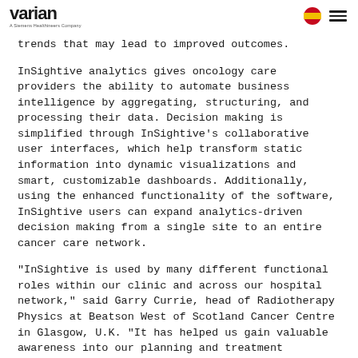Varian — A Siemens Healthineers Company
trends that may lead to improved outcomes.
InSightive analytics gives oncology care providers the ability to automate business intelligence by aggregating, structuring, and processing their data. Decision making is simplified through InSightive's collaborative user interfaces, which help transform static information into dynamic visualizations and smart, customizable dashboards. Additionally, using the enhanced functionality of the software, InSightive users can expand analytics-driven decision making from a single site to an entire cancer care network.
"InSightive is used by many different functional roles within our clinic and across our hospital network," said Garry Currie, head of Radiotherapy Physics at Beatson West of Scotland Cancer Centre in Glasgow, U.K. "It has helped us gain valuable awareness into our planning and treatment regimens, so we can provide better patient care, improving our effectiveness and efficiency."